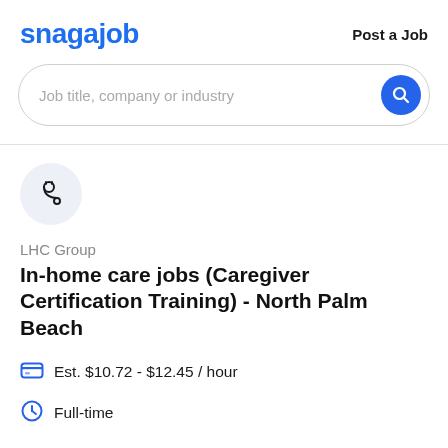snagajob | Post a Job
[Figure (screenshot): Search bar with placeholder text 'Job title, company or industry' and a blue circular search button with magnifying glass icon]
[Figure (logo): Company logo placeholder: stethoscope icon in a light blue/grey circle for LHC Group]
LHC Group
In-home care jobs (Caregiver Certification Training) - North Palm Beach
Est. $10.72 - $12.45 / hour
Full-time